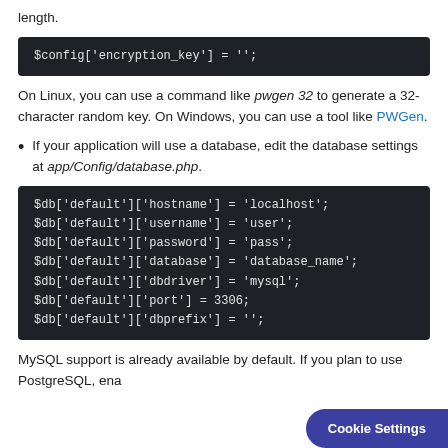length.
[Figure (screenshot): Code block showing: $config['encryption_key'] = '';]
On Linux, you can use a command like pwgen 32 to generate a 32-character random key. On Windows, you can use a tool like PWGen.
If your application will use a database, edit the database settings at app/Config/database.php.
[Figure (screenshot): Code block showing database config: $db['default']['hostname'] = 'localhost'; $db['default']['username'] = 'user'; $db['default']['password'] = 'pass'; $db['default']['database'] = 'database_name'; $db['default']['dbdriver'] = 'mysql'; $db['default']['port'] = 3306; $db['default']['dbprefix'] = '';]
MySQL support is already available by default. If you plan to use PostgreSQL, ena...